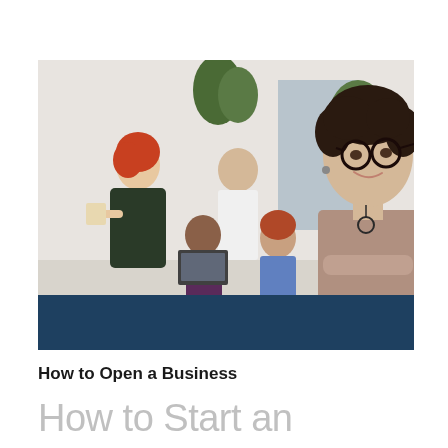[Figure (photo): A group of office workers in a modern workplace. In the foreground right, a woman with short curly hair and round glasses smiles at the camera, wearing a taupe/beige top with arms crossed. In the background, a woman with red hair holds a coffee cup, a person in white stands, and two others look at a laptop. There are plants and office decor visible. The bottom portion of the image has a dark teal/navy blue banner.]
How to Open a Business
How to Start an